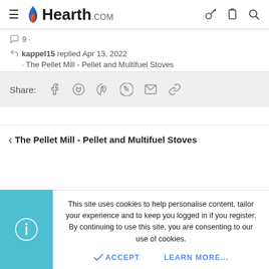Hearth.com
9 · kappel15 replied Apr 13, 2022 · The Pellet Mill - Pellet and Multifuel Stoves
Share:
The Pellet Mill - Pellet and Multifuel Stoves
This site uses cookies to help personalise content, tailor your experience and to keep you logged in if you register. By continuing to use this site, you are consenting to our use of cookies.
ACCEPT   LEARN MORE...